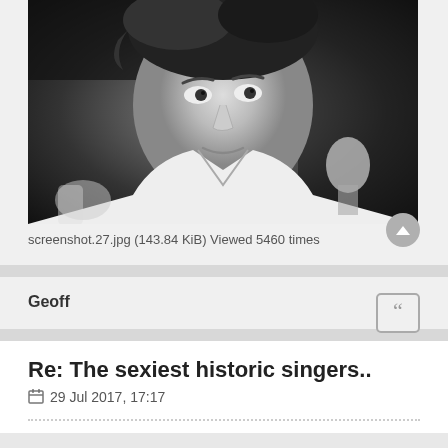[Figure (photo): Black and white close-up portrait photo of a young male singer with curly hair, looking directly at camera, wearing a white shirt, with a microphone visible at the right side.]
screenshot.27.jpg (143.84 KiB) Viewed 5460 times
Geoff
Re: The sexiest historic singers..
29 Jul 2017, 17:17